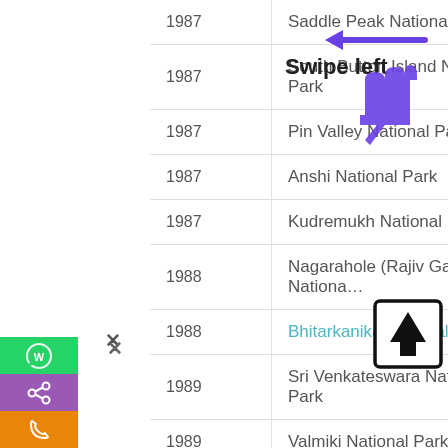| Year | National Park |
| --- | --- |
| 1987 | Saddle Peak National Park |
| 1987 | South Button Island National Park |
| 1987 | Pin Valley National Park |
| 1987 | Anshi National Park |
| 1987 | Kudremukh National Park |
| 1988 | Nagarahole (Rajiv Gandhi) National Park |
| 1988 | Bhitarkanika National Park |
| 1989 | Sri Venkateswara National Park |
| 1989 | Valmiki National Park |
| 1989 | Sultan National Park |
| 1989 | Indira Gandhi (Annamalai) National Park |
| 1989 | Gangotri National Park |
[Figure (screenshot): Swipe left annotation with arrow and finger hand icon pointing left]
[Figure (screenshot): Scroll to top button (black upward arrow in a rounded bordered square) on the right side]
[Figure (screenshot): Social sharing sidebar with WhatsApp (green), Share (purple), Phone (orange) buttons and a close X]